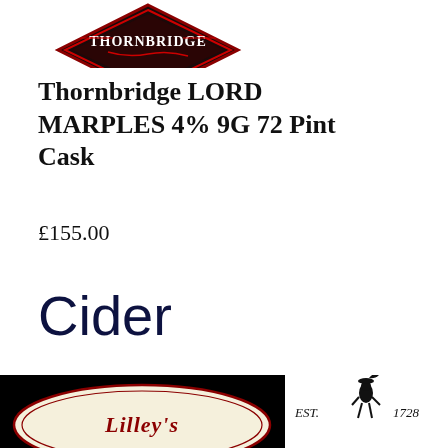[Figure (logo): Thornbridge brewery logo/badge partially cropped at top, red and dark background with THORNBRIDGE text]
Thornbridge LORD MARPLES 4% 9G 72 Pint Cask
£155.00
Cider
[Figure (logo): Lilley's cider logo on black background with cream oval, ornate red script text 'Lilley's']
[Figure (logo): EST. 1728 logo with a figure of a person in historical dress between the text]